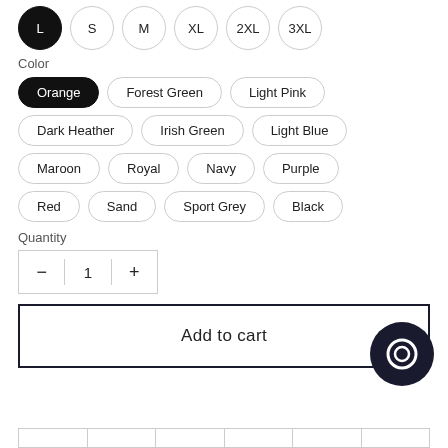L (selected), S, M, XL, 2XL, 3XL
Color
Orange (selected), Forest Green, Light Pink, Dark Heather, Irish Green, Light Blue, Maroon, Royal, Navy, Purple, Red, Sand, Sport Grey, Black
Quantity
1
Add to cart